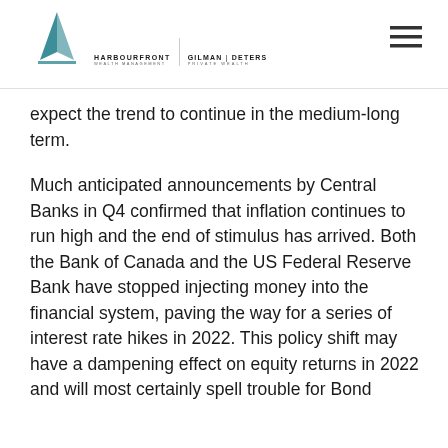Harbourfront Wealth Management | Gilman Deters Private Wealth
expect the trend to continue in the medium-long term.
Much anticipated announcements by Central Banks in Q4 confirmed that inflation continues to run high and the end of stimulus has arrived. Both the Bank of Canada and the US Federal Reserve Bank have stopped injecting money into the financial system, paving the way for a series of interest rate hikes in 2022. This policy shift may have a dampening effect on equity returns in 2022 and will most certainly spell trouble for Bond